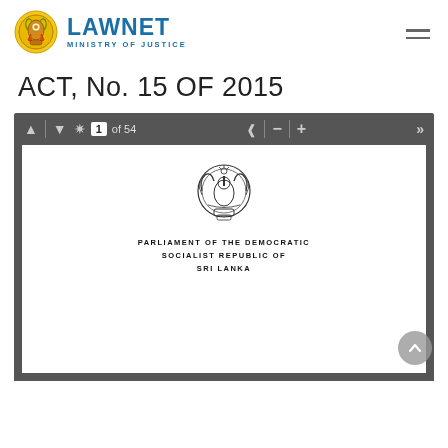[Figure (logo): LAWNET Ministry of Justice logo with Sri Lanka coat of arms emblem]
ACT, No. 15 OF 2015
[Figure (screenshot): PDF viewer toolbar showing page 1 of 54, with navigation arrows, zoom controls, and share button]
[Figure (illustration): Sri Lanka coat of arms emblem in black and white, inside PDF viewer page area, above text reading PARLIAMENT OF THE DEMOCRATIC SOCIALIST REPUBLIC OF SRI LANKA]
PARLIAMENT OF THE DEMOCRATIC SOCIALIST REPUBLIC OF SRI LANKA